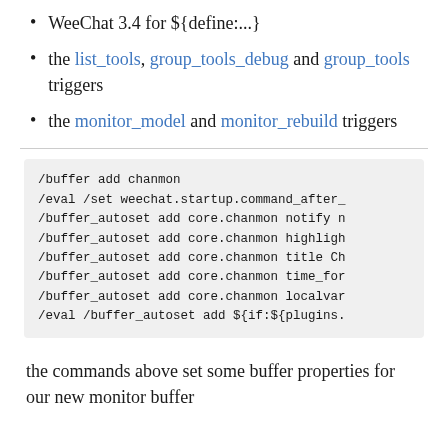WeeChat 3.4 for ${define:...}
the list_tools, group_tools_debug and group_tools triggers
the monitor_model and monitor_rebuild triggers
/buffer add chanmon
/eval /set weechat.startup.command_after_
/buffer_autoset add core.chanmon notify n
/buffer_autoset add core.chanmon highligh
/buffer_autoset add core.chanmon title Ch
/buffer_autoset add core.chanmon time_for
/buffer_autoset add core.chanmon localvar
/eval /buffer_autoset add ${if:${plugins.
the commands above set some buffer properties for our new monitor buffer